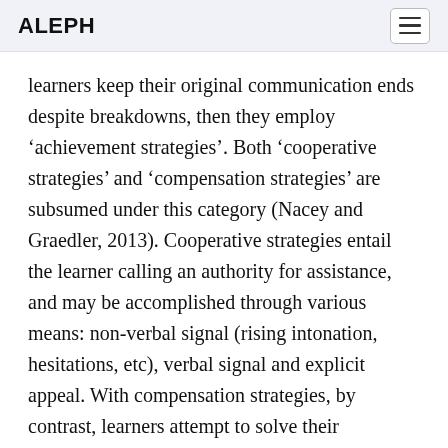ALEPH
learners keep their original communication ends despite breakdowns, then they employ ‘achievement strategies’. Both ‘cooperative strategies’ and ‘compensation strategies’ are subsumed under this category (Nacey and Graedler, 2013). Cooperative strategies entail the learner calling an authority for assistance, and may be accomplished through various means: non-verbal signal (rising intonation, hesitations, etc), verbal signal and explicit appeal. With compensation strategies, by contrast, learners attempt to solve their communication difficulty themselves rather than that...